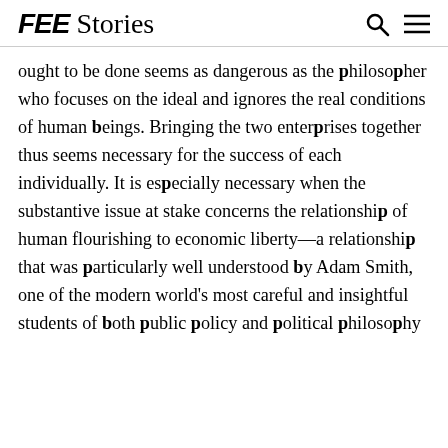FEE Stories
ought to be done seems as dangerous as the philosopher who focuses on the ideal and ignores the real conditions of human beings. Bringing the two enterprises together thus seems necessary for the success of each individually. It is especially necessary when the substantive issue at stake concerns the relationship of human flourishing to economic liberty—a relationship that was particularly well understood by Adam Smith, one of the modern world's most careful and insightful students of both public policy and political philosophy